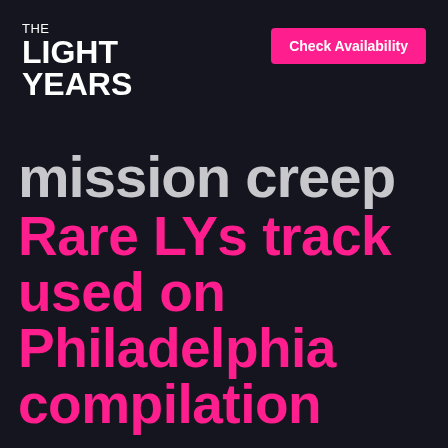THE LIGHT YEARS
Check Availability
mission creep
Rare LYs track used on Philadelphia compilation